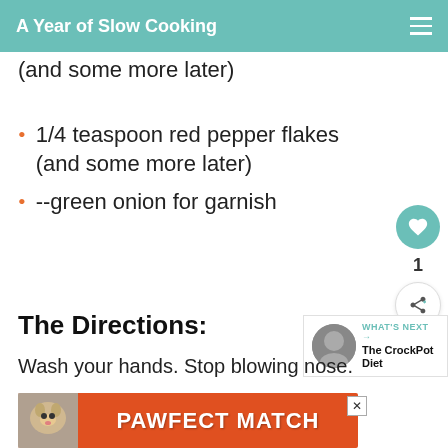A Year of Slow Cooking
(and some more later)
1/4 teaspoon red pepper flakes (and some more later)
--green onion for garnish
The Directions:
Wash your hands. Stop blowing nose.
[Figure (other): PAWFECT MATCH advertisement banner with a cat photo on orange background]